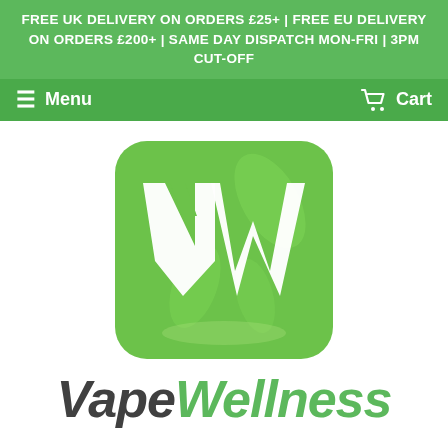FREE UK DELIVERY ON ORDERS £25+ | FREE EU DELIVERY ON ORDERS £200+ | SAME DAY DISPATCH MON-FRI | 3PM CUT-OFF
Menu   Cart
[Figure (logo): Vape Wellness logo: green rounded square with stylized white VW letters, with text 'Vape Wellness' below in dark grey and green italic bold font]